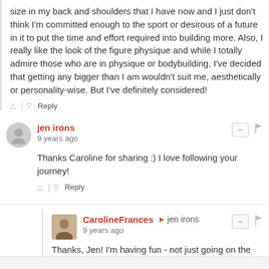size in my back and shoulders that I have now and I just don't think I'm committed enough to the sport or desirous of a future in it to put the time and effort required into building more. Also, I really like the look of the figure physique and while I totally admire those who are in physique or bodybuilding, I've decided that getting any bigger than I am wouldn't suit me, aesthetically or personality-wise. But I've definitely considered!
jen irons
9 years ago
Thanks Caroline for sharing :) I love following your journey!
CarolineFrances → jen irons
9 years ago
Thanks, Jen! I'm having fun - not just going on the journey, but sharing it!